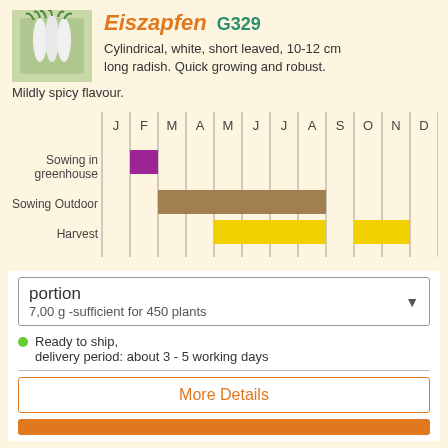Eiszapfen G329
Cylindrical, white, short leaved, 10-12 cm long radish. Quick growing and robust. Mildly spicy flavour.
[Figure (bar-chart): Planting calendar]
portion
7,00 g -sufficient for 450 plants
Ready to ship, delivery period: about 3 - 5 working days
More Details